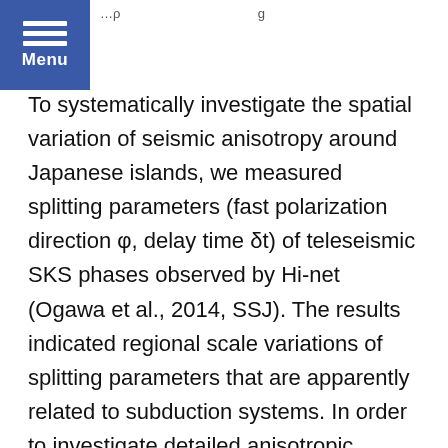…(partial heading text visible at top right)
To systematically investigate the spatial variation of seismic anisotropy around Japanese islands, we measured splitting parameters (fast polarization direction φ, delay time δt) of teleseismic SKS phases observed by Hi-net (Ogawa et al., 2014, SSJ). The results indicated regional scale variations of splitting parameters that are apparently related to subduction systems. In order to investigate detailed anisotropic structures (fabric in mantle wedge, subducting slab, and asthenosphere), we conducted forward modeling using synthetic seismograms. We modeled the SKS phases by the ray theory. We assumed that the SKS ray is straight and that each region has homogenous anisotropy. We rigorously calculated the phase velocity in each region by solving the Christofli… (text continues)